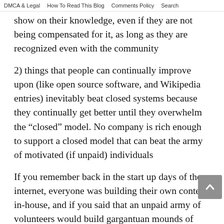DMCA & Legal   How To Read This Blog   Comments Policy   Search
show on their knowledge, even if they are not being compensated for it, as long as they are recognized even with the community
2) things that people can continually improve upon (like open source software, and Wikipedia entries) inevitably beat closed systems because they continually get better until they overwhelm the “closed” model. No company is rich enough to support a closed model that can beat the army of motivated (if unpaid) individuals
If you remember back in the start up days of the internet, everyone was building their own content in-house, and if you said that an unpaid army of volunteers would build gargantuan mounds of content (and in ever-increasing quality as well as